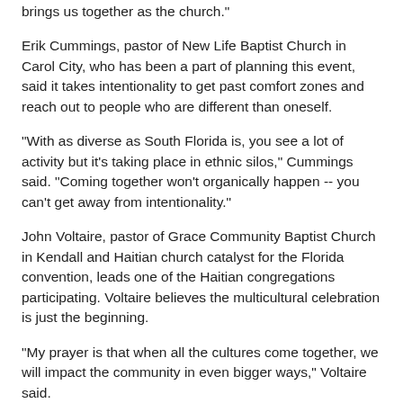brings us together as the church."
Erik Cummings, pastor of New Life Baptist Church in Carol City, who has been a part of planning this event, said it takes intentionality to get past comfort zones and reach out to people who are different than oneself.
"With as diverse as South Florida is, you see a lot of activity but it's taking place in ethnic silos," Cummings said. "Coming together won't organically happen -- you can't get away from intentionality."
John Voltaire, pastor of Grace Community Baptist Church in Kendall and Haitian church catalyst for the Florida convention, leads one of the Haitian congregations participating. Voltaire believes the multicultural celebration is just the beginning.
"My prayer is that when all the cultures come together, we will impact the community in even bigger ways," Voltaire said.